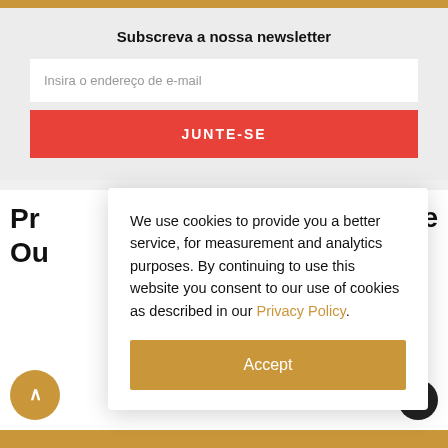Subscreva a nossa newsletter
Insira o endereço de e-mail
JUNTE-SE
Pr... le Ou...
We use cookies to provide you a better service, for measurement and analytics purposes. By continuing to use this website you consent to our use of cookies as described in our Privacy Policy.
Accept